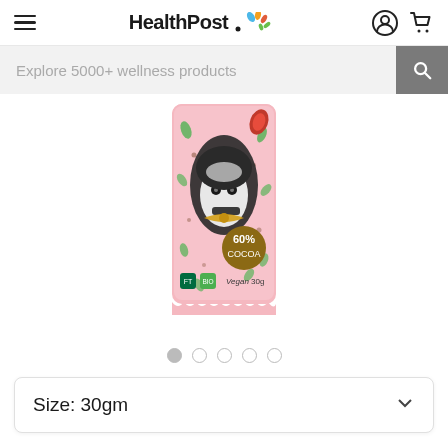HealthPost - Explore 5000+ wellness products
[Figure (photo): A pink chocolate bar wrapper featuring a kookaburra bird illustration, decorated with leaf motifs, red/orange cacao pods, and a gold circular badge reading '60% COCOA'. The bar shows Fairtrade, organic, vegan certifications and '30g' text.]
Size: 30gm